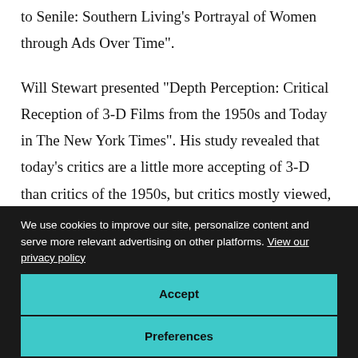to Senile: Southern Living's Portrayal of Women through Ads Over Time".
Will Stewart presented "Depth Perception: Critical Reception of 3-D Films from the 1950s and Today in The New York Times". His study revealed that today's critics are a little more accepting of 3-D than critics of the 1950s, but critics mostly viewed, and still view, 3-D technology as calling attention to itself, and thus detracting from the movie.
We use cookies to improve our site, personalize content and serve more relevant advertising on other platforms. View our privacy policy
Accept
Preferences